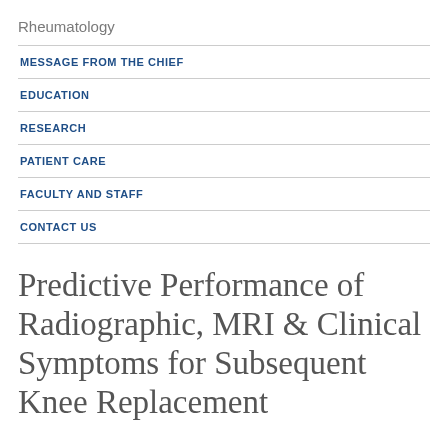Rheumatology
MESSAGE FROM THE CHIEF
EDUCATION
RESEARCH
PATIENT CARE
FACULTY AND STAFF
CONTACT US
Predictive Performance of Radiographic, MRI & Clinical Symptoms for Subsequent Knee Replacement